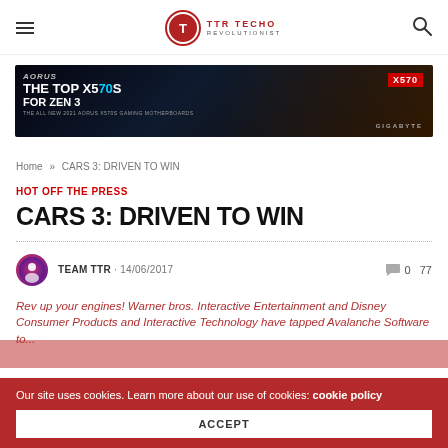≡  TTR TECHO REVOLUTIONIST  🔍
[Figure (infographic): AORUS X570 gaming motherboard advertisement banner. Text: 'THE TOP X570S FOR ZEN 3 - THE ALL NEW 2021 AORUS X570S GAMING MOTHERBOARDS' with X570 badge and GIGABYTE branding.]
Home » CARS 3: DRIVEN TO WIN
HOT OFF THE PRESS
CARS 3: DRIVEN TO WIN
TEAM TTR · 14/06/2017   💬 0   77
Rev up your engines! Warner Bros. Interactive Entertainment and Disney Consumer Products and Interactive Technology have tapped Avalanche Software to...
Our site uses cookies. Learn more about our use of cookies: cookie policy
ACCEPT